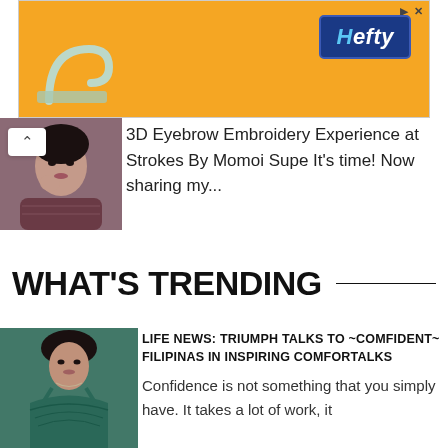[Figure (photo): Orange advertisement banner for Hefty brand with logo and hook/arc decoration]
[Figure (photo): Portrait photo of a young Asian woman with dark hair, touching her face, wearing a patterned top]
3D Eyebrow Embroidery Experience at Strokes By Momoi Supe It's time! Now sharing my...
WHAT'S TRENDING
[Figure (photo): Photo of a woman wearing a teal/green lace bralette, close-up portrait style]
LIFE NEWS: TRIUMPH TALKS TO ~COMFIDENT~ FILIPINAS IN INSPIRING COMFORTALKS
Confidence is not something that you simply have. It takes a lot of work, it